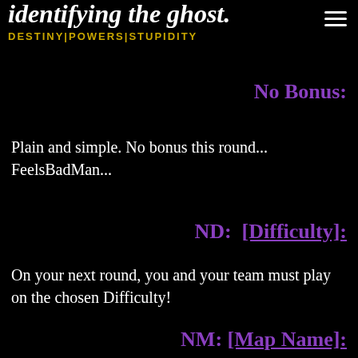identifying the ghost.
DESTINY|POWERS|STUPIDITY
No Bonus:
Plain and simple. No bonus this round... FeelsBadMan...
ND: [Difficulty]:
On your next round, you and your team must play on the chosen Difficulty!
NM: [Map Name]: